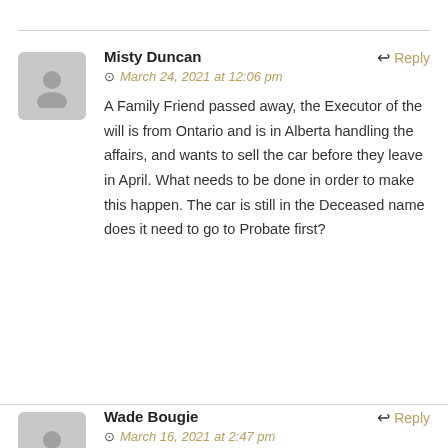Misty Duncan
March 24, 2021 at 12:06 pm
A Family Friend passed away, the Executor of the will is from Ontario and is in Alberta handling the affairs, and wants to sell the car before they leave in April. What needs to be done in order to make this happen. The car is still in the Deceased name does it need to go to Probate first?
Wade Bougie
March 16, 2021 at 2:47 pm